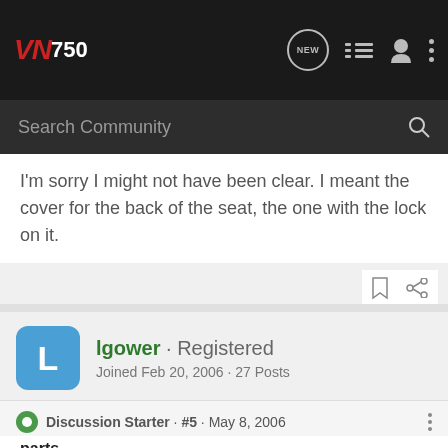VN750 · New · List · User menu
Search Community
I'm sorry I might not have been clear. I meant the cover for the back of the seat, the one with the lock on it.
lgower · Registered
Joined Feb 20, 2006 · 27 Posts
Discussion Starter · #5 · May 8, 2006
parts